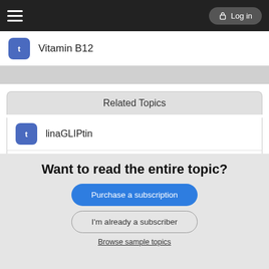Log in
Vitamin B12
Related Topics
linaGLIPtin
empagliflozin
canagliflozin
Want to read the entire topic?
Purchase a subscription
I'm already a subscriber
Browse sample topics